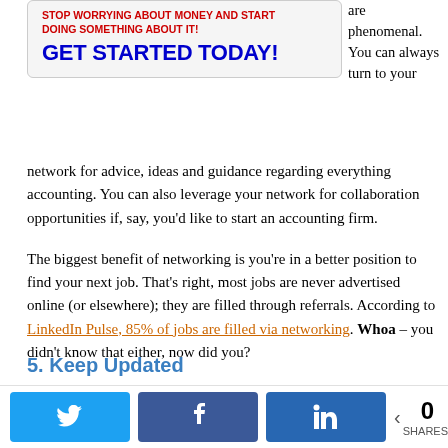[Figure (other): Advertisement block with red bold text 'STOP WORRYING ABOUT MONEY AND START DOING SOMETHING ABOUT IT!' and blue bold text 'GET STARTED TODAY!']
are phenomenal. You can always turn to your network for advice, ideas and guidance regarding everything accounting. You can also leverage your network for collaboration opportunities if, say, you'd like to start an accounting firm.
The biggest benefit of networking is you're in a better position to find your next job. That's right, most jobs are never advertised online (or elsewhere); they are filled through referrals. According to LinkedIn Pulse, 85% of jobs are filled via networking. Whoa – you didn't know that either, now did you?
5. Keep Updated
[Figure (other): Social share bar with Twitter, Facebook, LinkedIn buttons and share count showing 0 SHARES]